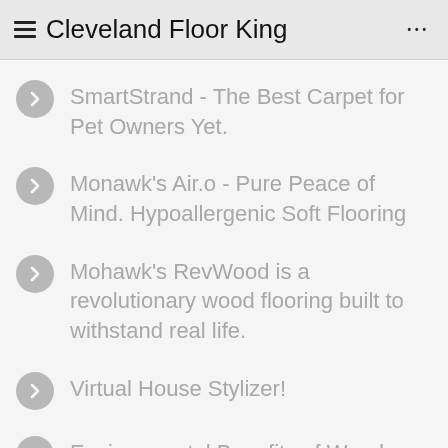Cleveland Floor King
SmartStrand - The Best Carpet for Pet Owners Yet.
Monawk's Air.o - Pure Peace of Mind. Hypoallergenic Soft Flooring
Mohawk's RevWood is a revolutionary wood flooring built to withstand real life.
Virtual House Stylizer!
Environmental Benefits of Wood Floors